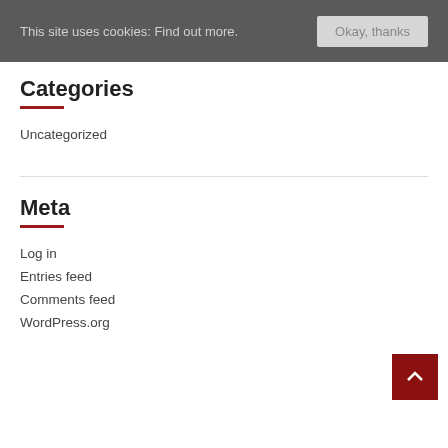This site uses cookies: Find out more. [Okay, thanks]
Categories
Uncategorized
Meta
Log in
Entries feed
Comments feed
WordPress.org